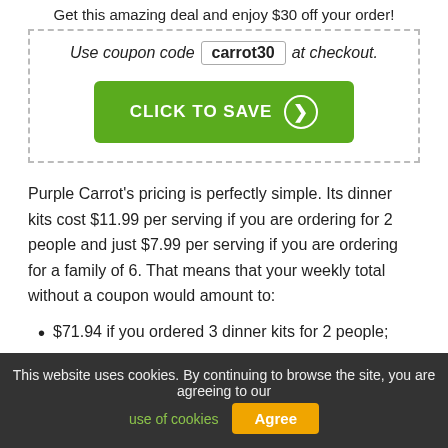Get this amazing deal and enjoy $30 off your order!
Use coupon code carrot30 at checkout.
[Figure (other): Green button with text CLICK TO SAVE and arrow icon]
Purple Carrot's pricing is perfectly simple. Its dinner kits cost $11.99 per serving if you are ordering for 2 people and just $7.99 per serving if you are ordering for a family of 6. That means that your weekly total without a coupon would amount to:
$71.94 if you ordered 3 dinner kits for 2 people;
$95.88 if you ordered 2 dinner kits for 6 people.
This website uses cookies. By continuing to browse the site, you are agreeing to our use of cookies  Agree